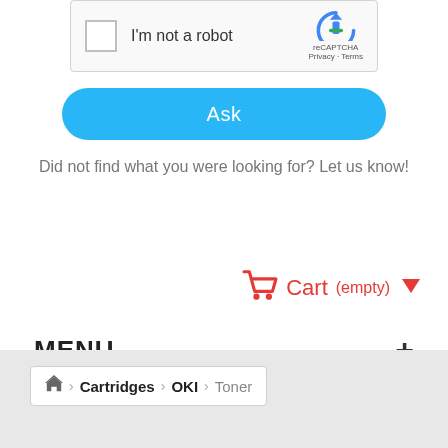[Figure (screenshot): reCAPTCHA widget with checkbox labeled 'I'm not a robot' and reCAPTCHA logo with Privacy and Terms links]
Ask
Did not find what you were looking for? Let us know!
Cart (empty) ▼
MENU +
Home > Cartridges > OKI > Toner